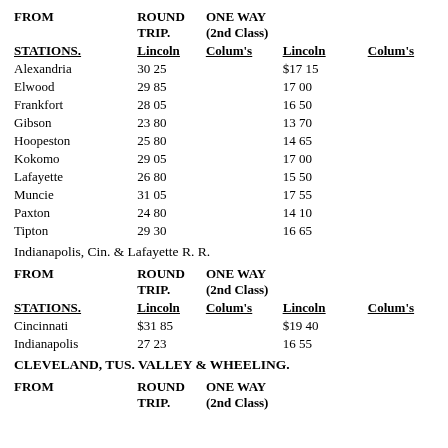| FROM | ROUND TRIP. | ONE WAY (2nd Class) |  |  |
| --- | --- | --- | --- | --- |
| STATIONS. | Lincoln | Colum's | Lincoln | Colum's |
| Alexandria | 30 25 |  | $17 15 |  |
| Elwood | 29 85 |  | 17 00 |  |
| Frankfort | 28 05 |  | 16 50 |  |
| Gibson | 23 80 |  | 13 70 |  |
| Hoopeston | 25 80 |  | 14 65 |  |
| Kokomo | 29 05 |  | 17 00 |  |
| Lafayette | 26 80 |  | 15 50 |  |
| Muncie | 31 05 |  | 17 55 |  |
| Paxton | 24 80 |  | 14 10 |  |
| Tipton | 29 30 |  | 16 65 |  |
Indianapolis, Cin. & Lafayette R. R.
| FROM | ROUND TRIP. | ONE WAY (2nd Class) |  |  |
| --- | --- | --- | --- | --- |
| STATIONS. | Lincoln | Colum's | Lincoln | Colum's |
| Cincinnati | $31 85 |  | $19 40 |  |
| Indianapolis | 27 23 |  | 16 55 |  |
CLEVELAND, TUS. VALLEY & WHEELING.
| FROM | ROUND TRIP. | ONE WAY (2nd Class) |  |  |
| --- | --- | --- | --- | --- |